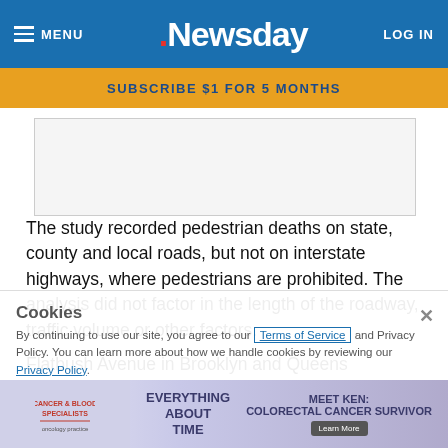MENU | Newsday | LOG IN
SUBSCRIBE $1 FOR 5 MONTHS
[Figure (other): Advertisement placeholder box]
The study recorded pedestrian deaths on state, county and local roads, but not on interstate highways, where pedestrians are prohibited. The analysis did not factor in the length of the roadway, traffic volume or other factors.
Flatbush Avenue in Brooklyn and Queens Boulevard in Queens were tied for second this year with 11 fatalities in the three-year span, the report said. The Grand Concourse in the Bronx had 10 fatalities, and all other roadways were in the
Cookies
By continuing to use our site, you agree to our Terms of Service and Privacy Policy. You can learn more about how we handle cookies by reviewing our Privacy Policy.
[Figure (other): Bottom advertisement banner with cancer and blood specialists ad and Meet Ken colorectal cancer survivor]